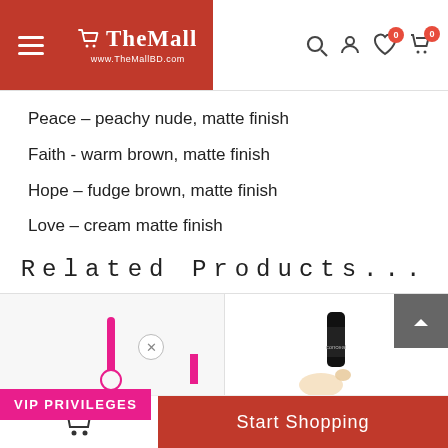The Mall - www.TheMallBD.com
Peace – peachy nude, matte finish
Faith - warm brown, matte finish
Hope – fudge brown, matte finish
Love – cream matte finish
Related Products...
[Figure (photo): Product card area showing two product images: left card has a pink dropper/brush element on white background, right card shows a concealer tube with applicator swatch]
VIP PRIVILEGES
Start Shopping